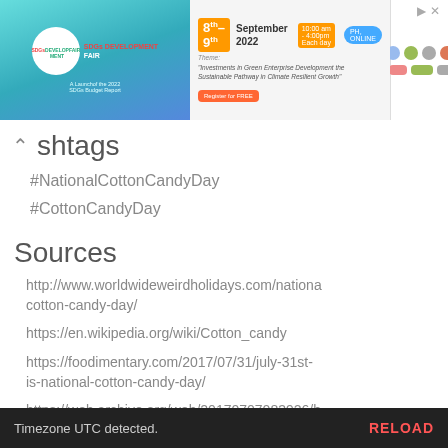[Figure (screenshot): Banner advertisement for the SDGs Development Fair, 8th-9th September 2022, 10:00am-4:00pm Each day, theme: Investments in Green Enterprise Development the Sustainable Pathway in Climate Resilient Growth, Register for FREE]
Hashtags
#NationalCottonCandyDay
#CottonCandyDay
Sources
http://www.worldwideweirdholidays.com/national-cotton-candy-day/
https://en.wikipedia.org/wiki/Cotton_candy
https://foodimentary.com/2017/07/31/july-31st-is-national-cotton-candy-day/
https://web.archive.org/web/20170707083926/h
https://www.amazon.com/dp/1620401606?tag=checkiday08-20
https://www.punchbowl.com/holidays/national-cotton-candy-day
Timezone UTC detected.   RELOAD